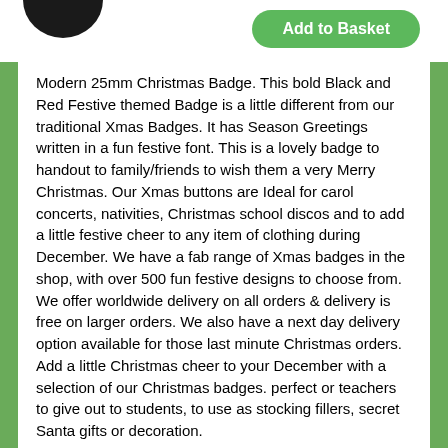[Figure (other): Partial view of a circular black Christmas badge at top left, and a green 'Add to Basket' button at top right]
Modern 25mm Christmas Badge. This bold Black and Red Festive themed Badge is a little different from our traditional Xmas Badges. It has Season Greetings written in a fun festive font. This is a lovely badge to handout to family/friends to wish them a very Merry Christmas. Our Xmas buttons are Ideal for carol concerts, nativities, Christmas school discos and to add a little festive cheer to any item of clothing during December. We have a fab range of Xmas badges in the shop, with over 500 fun festive designs to choose from. We offer worldwide delivery on all orders & delivery is free on larger orders. We also have a next day delivery option available for those last minute Christmas orders. Add a little Christmas cheer to your December with a selection of our Christmas badges. perfect or teachers to give out to students, to use as stocking fillers, secret Santa gifts or decoration.
We have a huge range of Christmas Badges available. With over 650 Christmas button badges to choose from we have something for everyone. From father Christmas badges & Santa badges, to Christmas elf badges and reindeer badges, our Xmas Badge range is one of the biggest around. Our Christmas badges are perfect for teachers & schools & look great pinned to Christmas stockings or Christmas jumpers.